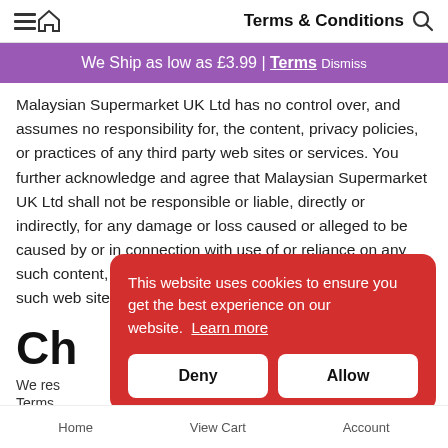Terms & Conditions
We Ship as low as £3.99 | Terms Dismiss
Malaysian Supermarket UK Ltd has no control over, and assumes no responsibility for, the content, privacy policies, or practices of any third party web sites or services. You further acknowledge and agree that Malaysian Supermarket UK Ltd shall not be responsible or liable, directly or indirectly, for any damage or loss caused or alleged to be caused by or in connection with use of or reliance on any such content, goods or services available on or through any such web sites or services.
Ch…
We res…
Terms…
This website uses cookies to ensure you get the best experience on our website. Learn more
Home   View Cart   Account